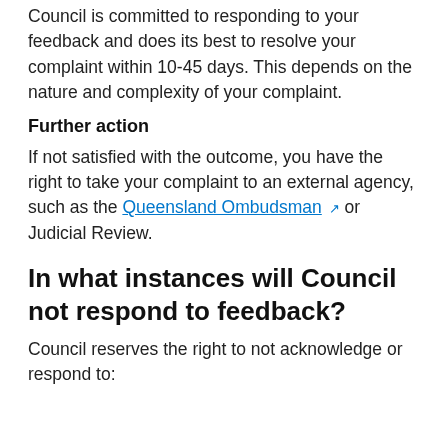Council is committed to responding to your feedback and does its best to resolve your complaint within 10-45 days. This depends on the nature and complexity of your complaint.
Further action
If not satisfied with the outcome, you have the right to take your complaint to an external agency, such as the Queensland Ombudsman or Judicial Review.
In what instances will Council not respond to feedback?
Council reserves the right to not acknowledge or respond to: